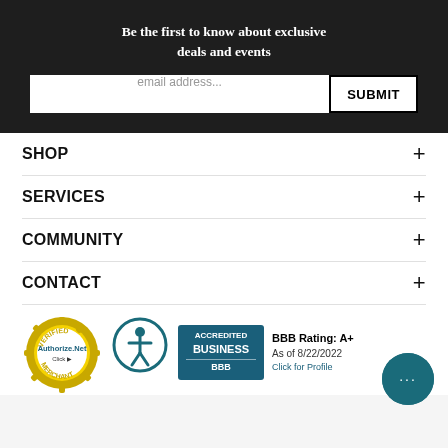Be the first to know about exclusive deals and events
email address...
SUBMIT
SHOP +
SERVICES +
COMMUNITY +
CONTACT +
[Figure (logo): Authorize.Net Verified Merchant seal]
[Figure (logo): Accessibility icon - person in circle]
[Figure (logo): BBB Accredited Business badge with BBB Rating: A+, As of 8/22/2022, Click for Profile]
[Figure (illustration): Teal circular chat bubble icon with ellipsis]